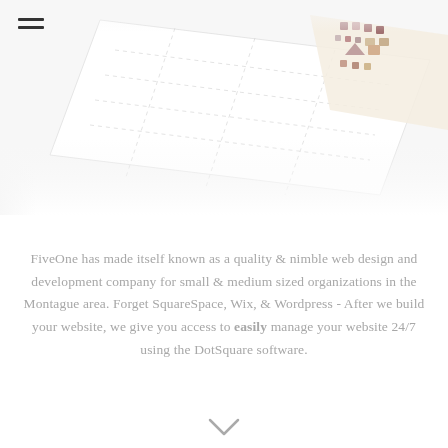[Figure (screenshot): A perspective/isometric screenshot of a website design interface showing icons and page elements on a white background with a cream/tan color accent on the right side. The screenshot is shown at an angle against a white background.]
FiveOne has made itself known as a quality & nimble web design and development company for small & medium sized organizations in the Montague area. Forget SquareSpace, Wix, & Wordpress - After we build your website, we give you access to easily manage your website 24/7 using the DotSquare software.
[Figure (illustration): A small downward-pointing chevron/arrow icon at the bottom center of the page.]